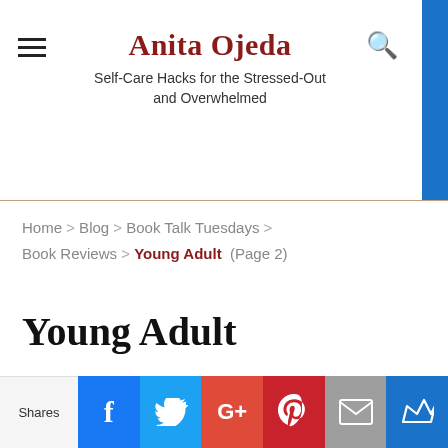Anita Ojeda — Self-Care Hacks for the Stressed-Out and Overwhelmed
Home > Blog > Book Talk Tuesdays > Book Reviews > Young Adult (Page 2)
Young Adult
Showing: 11 - 20 of 30 Articles
[Figure (infographic): Social sharing bar with Shares label and icons for Facebook, Twitter, Google+, Pinterest, Email, and Crown/bookmark]